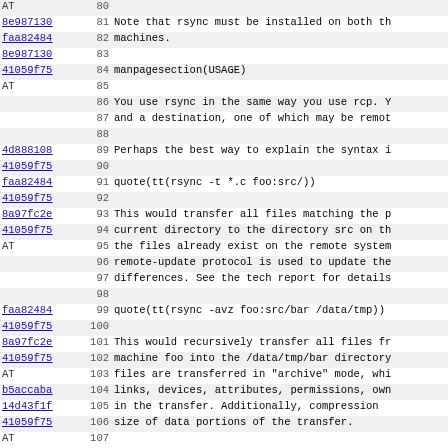| hash | line | code |
| --- | --- | --- |
| AT | 80 |  |
| 8e987130 | 81 | Note that rsync must be installed on both th |
| faa82484 | 82 | machines. |
| 8e987130 | 83 |  |
| 41059f75 | 84 | manpagesection(USAGE) |
| AT | 85 |  |
|  | 86 | You use rsync in the same way you use rcp. Y |
|  | 87 | and a destination, one of which may be remot |
|  | 88 |  |
| 4d888108 | 89 | Perhaps the best way to explain the syntax i |
| 41059f75 | 90 |  |
| faa82484 | 91 | quote(tt(rsync -t *.c foo:src/)) |
| 41059f75 | 92 |  |
| 8a97fc2e | 93 | This would transfer all files matching the p |
| 41059f75 | 94 | current directory to the directory src on th |
| AT | 95 | the files already exist on the remote system |
|  | 96 | remote-update protocol is used to update the |
|  | 97 | differences. See the tech report for details |
|  | 98 |  |
| faa82484 | 99 | quote(tt(rsync -avz foo:src/bar /data/tmp)) |
| 41059f75 | 100 |  |
| 8a97fc2e | 101 | This would recursively transfer all files fr |
| 41059f75 | 102 | machine foo into the /data/tmp/bar directory |
| AT | 103 | files are transferred in "archive" mode, whi |
| b5accaba | 104 | links, devices, attributes, permissions, own |
| 14d43f1f | 105 | in the transfer.  Additionally, compression |
| 41059f75 | 106 | size of data portions of the transfer. |
| AT | 107 |  |
| faa82484 | 108 | quote(tt(rsync -avz foo:src/bar/ /data/tmp)) |
| 41059f75 | 109 |  |
| 8a97fc2e | 110 | A trailing slash on the source changes this |
| WD | 111 | additional directory level at the destinatio |